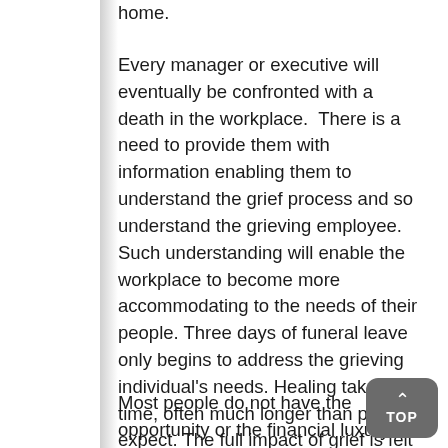home.
Every manager or executive will eventually be confronted with a death in the workplace.  There is a need to provide them with information enabling them to understand the grief process and so understand the grieving employee. Such understanding will enable the workplace to become more accommodating to the needs of their people. Three days of funeral leave only begins to address the grieving individual's needs. Healing takes time, often much longer than people expect. The full impact of grief is felt long after the funeral.
Most people do not have the opportunity or the financial luxury of taking an extended leave of absence. Usually they